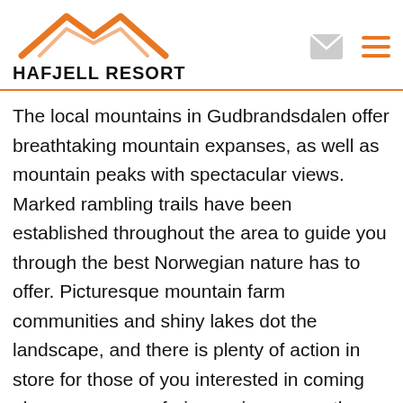Hafjell Resort
The local mountains in Gudbrandsdalen offer breathtaking mountain expanses, as well as mountain peaks with spectacular views. Marked rambling trails have been established throughout the area to guide you through the best Norwegian nature has to offer. Picturesque mountain farm communities and shiny lakes dot the landscape, and there is plenty of action in store for those of you interested in coming along a moose safari or racing across the open mountain landscape on a bicycle.
JOTUNHEIMEN NATIONAL PARK